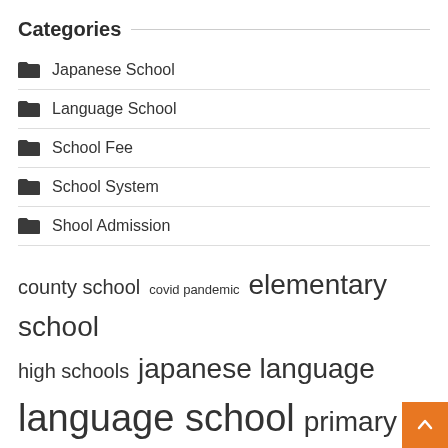Categories
Japanese School
Language School
School Fee
School System
Shool Admission
county school  covid pandemic  elementary school  high schools  japanese language  language school  primary school  public schools  school admission  school board